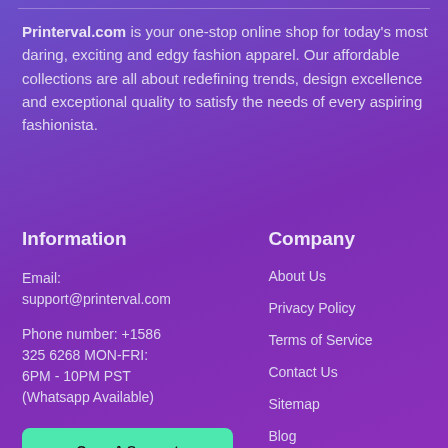Printerval.com is your one-stop online shop for today's most daring, exciting and edgy fashion apparel. Our affordable collections are all about redefining trends, design excellence and exceptional quality to satisfy the needs of every aspiring fashionista.
Information
Email:
support@printerval.com
Phone number: +1586 325 6268 MON-FRI:
6PM - 10PM PST
(Whatsapp Available)
[Figure (other): Open A Support Ticket button (green rounded rectangle)]
Company
About Us
Privacy Policy
Terms of Service
Contact Us
Sitemap
Blog